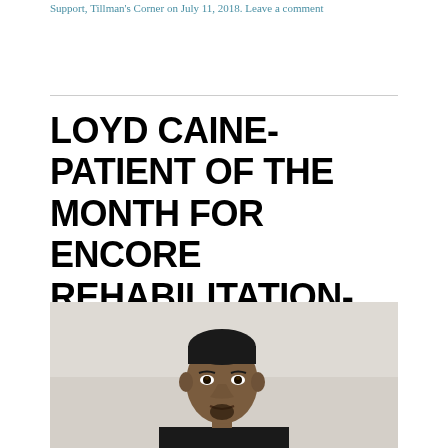Support, Tillman's Corner on July 11, 2018. Leave a comment
LOYD CAINE-PATIENT OF THE MONTH FOR ENCORE REHABILITATION-FAYETTE
[Figure (photo): Photo of Loyd Caine, a man with short hair and a small goatee, wearing a dark jacket, photographed against a light grey/beige wall background.]